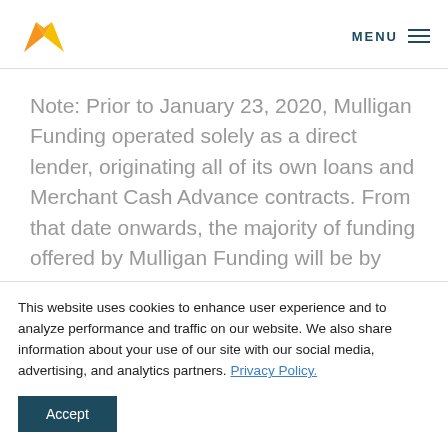[Figure (logo): Mulligan Funding logo — stylized orange and yellow 'M' shape]
MENU ≡
Note: Prior to January 23, 2020, Mulligan Funding operated solely as a direct lender, originating all of its own loans and Merchant Cash Advance contracts. From that date onwards, the majority of funding offered by Mulligan Funding will be by
This website uses cookies to enhance user experience and to analyze performance and traffic on our website. We also share information about your use of our site with our social media, advertising, and analytics partners. Privacy Policy.
Accept